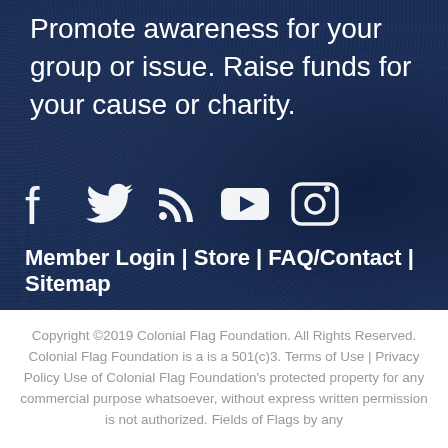Promote awareness for your group or issue. Raise funds for your cause or charity.
[Figure (illustration): Social media icons: Facebook, Twitter, RSS feed, YouTube, Instagram — white icons on dark blue background]
Member Login | Store | FAQ/Contact | Sitemap
Copyright ©2019 Colonial Flag Foundation. All Rights Reserved. Colonial Flag Foundation is a is a 501(c)3. Terms of Use | Privacy Policy Use of Colonial Flag Foundation's protected property for any commercial purpose whatsoever, without express written permission is not authorized. Fields of Flags by any